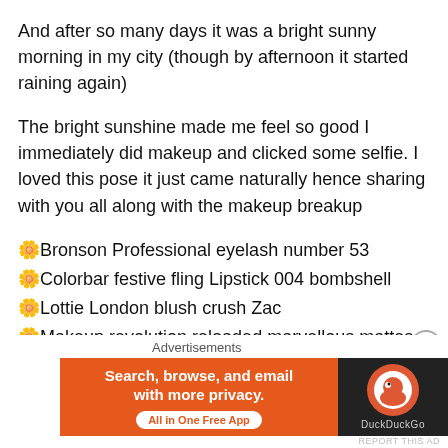And after so many days it was a bright sunny morning in my city (though by afternoon it started raining again)
The bright sunshine made me feel so good I immediately did makeup and clicked some selfie. I loved this pose it just came naturally hence sharing with you all along with the makeup breakup
🌼Bronson Professional eyelash number 53
🌼Colorbar festive fling Lipstick 004 bombshell
🌼Lottie London blush crush Zac
🌼Makeup revolution reloaded marvellous mattes Eyeshadow Palette
🌼Nykaa take a brow eyebrow filler coco raven 01❤
[Figure (screenshot): DuckDuckGo advertisement banner with orange left panel saying 'Search, browse, and email with more privacy. All in One Free App' and dark right panel with DuckDuckGo logo]
REPORT THIS AD